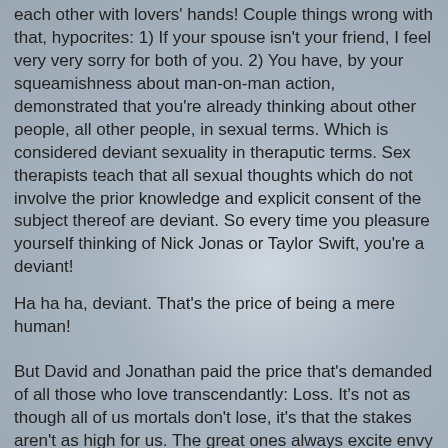each other with lovers' hands! Couple things wrong with that, hypocrites: 1) If your spouse isn't your friend, I feel very very sorry for both of you. 2) You have, by your squeamishness about man-on-man action, demonstrated that you're already thinking about other people, all other people, in sexual terms. Which is considered deviant sexuality in theraputic terms. Sex therapists teach that all sexual thoughts which do not involve the prior knowledge and explicit consent of the subject thereof are deviant. So every time you pleasure yourself thinking of Nick Jonas or Taylor Swift, you're a deviant!
Ha ha ha, deviant. That's the price of being a mere human!
But David and Jonathan paid the price that's demanded of all those who love transcendantly: Loss. It's not as though all of us mortals don't lose, it's that the stakes aren't as high for us. The great ones always excite envy in the lesser. Then the burden of life in the muddy mess of the world is lifted from them by their love and, well, that's more than can be borne by the small-souled: